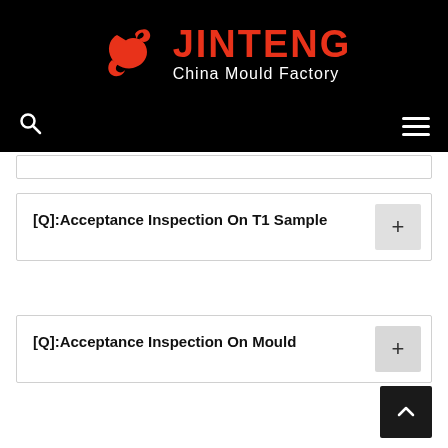[Figure (logo): Jinteng China Mould Factory logo with red dragon icon and red JINTENG text on black background]
[Q]:Acceptance Inspection On T1 Sample
[Q]:Acceptance Inspection On Mould